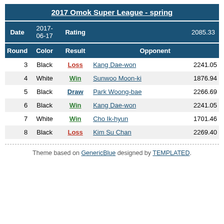| Date | 2017-06-17 | Rating | 2085.33 |
| --- | --- | --- | --- |
| Round | Color | Result | Opponent |  |
| 3 | Black | Loss | Kang Dae-won | 2241.05 |
| 4 | White | Win | Sunwoo Moon-ki | 1876.94 |
| 5 | Black | Draw | Park Woong-bae | 2266.69 |
| 6 | Black | Win | Kang Dae-won | 2241.05 |
| 7 | White | Win | Cho Ik-hyun | 1701.46 |
| 8 | Black | Loss | Kim Su Chan | 2269.40 |
Theme based on GenericBlue designed by TEMPLATED.